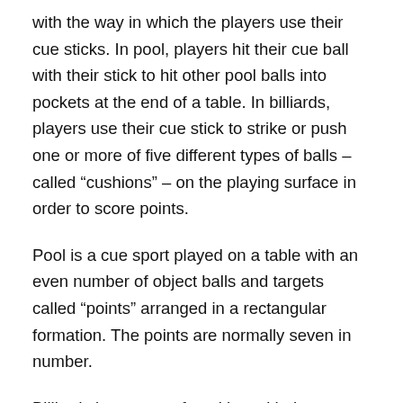with the way in which the players use their cue sticks. In pool, players hit their cue ball with their stick to hit other pool balls into pockets at the end of a table. In billiards, players use their cue stick to strike or push one or more of five different types of balls – called “cushions” – on the playing surface in order to score points.
Pool is a cue sport played on a table with an even number of object balls and targets called “points” arranged in a rectangular formation. The points are normally seven in number.
Billiards is a game of pool but with the addition of two extra balls. There are also 8-ball and 9-ball variations that differ from the original game.